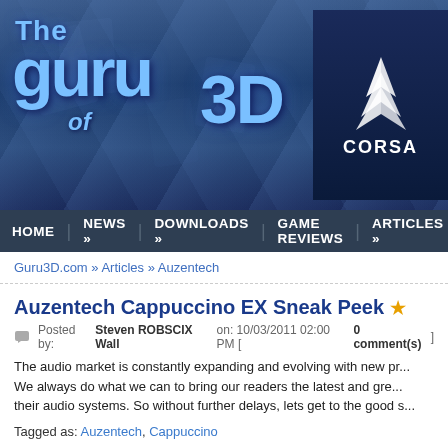[Figure (screenshot): Guru3D.com website header banner with blue gradient background showing 'The Guru of 3D' logo in blue metallic text, with Corsair logo/brand in top right corner]
HOME | NEWS » | DOWNLOADS » | GAME REVIEWS | ARTICLES »
Guru3D.com » Articles » Auzentech
Auzentech Cappuccino EX Sneak Peek ★
Posted by: Steven ROBSCIX Wall on: 10/03/2011 02:00 PM [ 0 comment(s) ]
The audio market is constantly expanding and evolving with new pr... We always do what we can to bring our readers the latest and gre... their audio systems. So without further delays, lets get to the good s...
Tagged as: Auzentech, Cappuccino
Auzentech X-Meridian 7.1 2G Preview